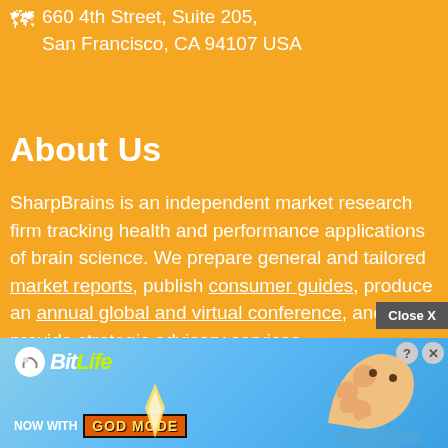660 4th Street, Suite 205,
San Francisco, CA 94107 USA
About Us
SharpBrains is an independent market research firm tracking health and performance applications of brain science. We prepare general and tailored market reports, publish consumer guides, produce an annual global and virtual conference, and provide strategic advisory services.
[Figure (screenshot): BitLife advertisement banner with 'NOW WITH GOD MODE' text and a pointing hand illustration, with Close X button and help/close icons]